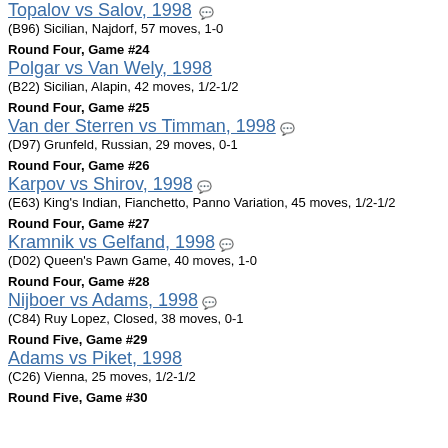Topalov vs Salov, 1998
(B96) Sicilian, Najdorf, 57 moves, 1-0
Round Four, Game #24
Polgar vs Van Wely, 1998
(B22) Sicilian, Alapin, 42 moves, 1/2-1/2
Round Four, Game #25
Van der Sterren vs Timman, 1998
(D97) Grunfeld, Russian, 29 moves, 0-1
Round Four, Game #26
Karpov vs Shirov, 1998
(E63) King's Indian, Fianchetto, Panno Variation, 45 moves, 1/2-1/2
Round Four, Game #27
Kramnik vs Gelfand, 1998
(D02) Queen's Pawn Game, 40 moves, 1-0
Round Four, Game #28
Nijboer vs Adams, 1998
(C84) Ruy Lopez, Closed, 38 moves, 0-1
Round Five, Game #29
Adams vs Piket, 1998
(C26) Vienna, 25 moves, 1/2-1/2
Round Five, Game #30